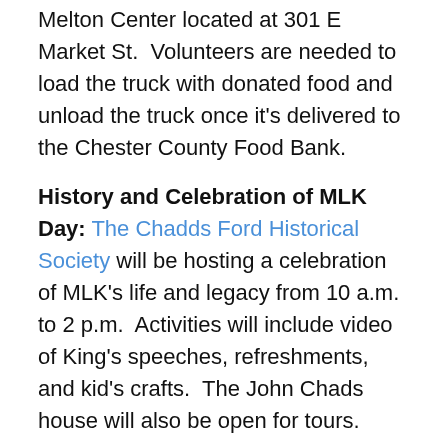Melton Center located at 301 E Market St.  Volunteers are needed to load the truck with donated food and unload the truck once it's delivered to the Chester County Food Bank.
History and Celebration of MLK Day: The Chadds Ford Historical Society will be hosting a celebration of MLK's life and legacy from 10 a.m. to 2 p.m.  Activities will include video of King's speeches, refreshments, and kid's crafts.  The John Chads house will also be open for tours.
West Chester University: West Chester University will honor Dr. King across two days starting Thursday and ending Friday.  Events include a traditional soul food dinner, a showing of the movie “The Great Debaters” and the 18th annual Dr. Martin Luther King, Jr.   For full details visit the complete schedule here.
Related articles